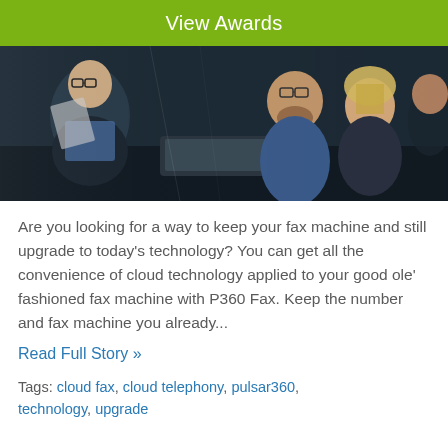View Awards
[Figure (photo): Dark photo of business people having a meeting around a table in an office with glass walls; multiple people visible including a bearded man with glasses and a woman with blonde hair]
Are you looking for a way to keep your fax machine and still upgrade to today's technology? You can get all the convenience of cloud technology applied to your good ole' fashioned fax machine with P360 Fax. Keep the number and fax machine you already...
Read Full Story »
Tags: cloud fax, cloud telephony, pulsar360, technology, upgrade